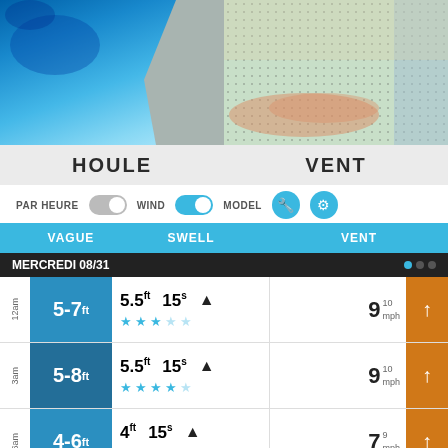[Figure (map): Left map showing wave/houle forecast with blue ocean gradient and grey land mass]
[Figure (map): Right map showing wind/vent forecast with green/beige tones and dotted wind pattern overlay]
HOULE
VENT
PAR HEURE [toggle off] WIND [toggle on] MODEL [wrench icon] [settings icon]
| VAGUE | SWELL | VENT |
| --- | --- | --- |
| MERCREDI 08/31 |  | ... |
| 12am | 5-7ft | 5.5ft 15s ★★★☆☆ | 9 10mph ↑ |
| 3am | 5-8ft | 5.5ft 15s ★★★★☆ | 9 10mph ↑ |
| 6am | 4-6ft | 4ft 15s ★★★★☆ | 7 9mph ↑ |